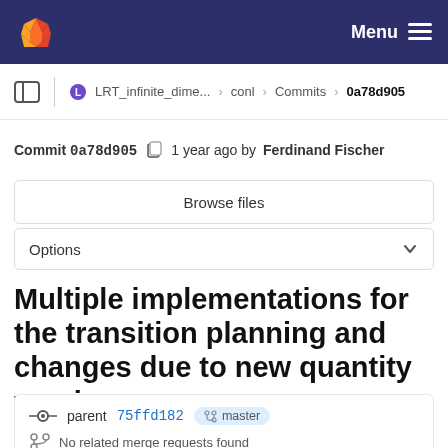GitLab navigation bar with logo and Menu
LRT_infinite_dime... > conl > Commits > 0a78d905
Commit 0a78d905  1 year ago by Ferdinand Fischer
Browse files
Options
Multiple implementations for the transition planning and changes due to new quantity version
parent 75ffd182  master
No related merge requests found